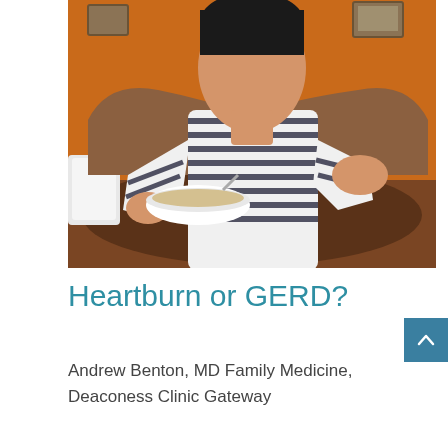[Figure (photo): A man in a white and dark-striped t-shirt sitting with a bowl of food, pressing his hand to his chest, suggesting heartburn or chest discomfort. Orange wall background.]
Heartburn or GERD?
Andrew Benton, MD Family Medicine, Deaconess Clinic Gateway